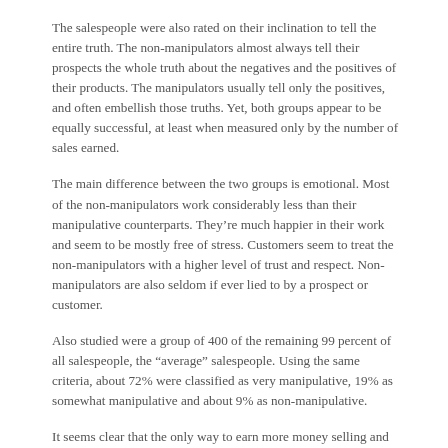The salespeople were also rated on their inclination to tell the entire truth. The non-manipulators almost always tell their prospects the whole truth about the negatives and the positives of their products. The manipulators usually tell only the positives, and often embellish those truths. Yet, both groups appear to be equally successful, at least when measured only by the number of sales earned.
The main difference between the two groups is emotional. Most of the non-manipulators work considerably less than their manipulative counterparts. They're much happier in their work and seem to be mostly free of stress. Customers seem to treat the non-manipulators with a higher level of trust and respect. Non-manipulators are also seldom if ever lied to by a prospect or customer.
Also studied were a group of 400 of the remaining 99 percent of all salespeople, the “average” salespeople. Using the same criteria, about 72% were classified as very manipulative, 19% as somewhat manipulative and about 9% as non-manipulative.
It seems clear that the only way to earn more money selling and enjoy doing it is through open, honest business relationships with customers. People unfortunately can and do make a living selling dishonestly but it wears on them over time.